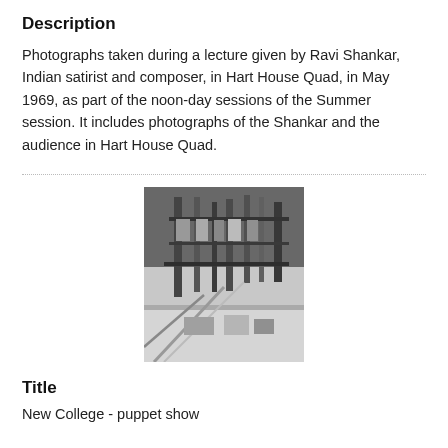Description
Photographs taken during a lecture given by Ravi Shankar, Indian satirist and composer, in Hart House Quad, in May 1969, as part of the noon-day sessions of the Summer session. It includes photographs of the Shankar and the audience in Hart House Quad.
[Figure (photo): Black and white photograph showing what appears to be books or materials arranged vertically, possibly in a library or display setting.]
Title
New College - puppet show